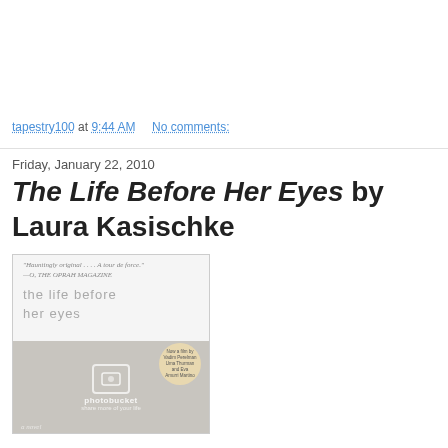tapestry100 at 9:44 AM   No comments:
Friday, January 22, 2010
The Life Before Her Eyes by Laura Kasischke
[Figure (photo): Book cover of 'the life before her eyes' by Laura Kasischke, a novel. Light gray/white tones with a photobucket watermark overlay. Includes a circular sticker and a quote from O, The Oprah Magazine.]